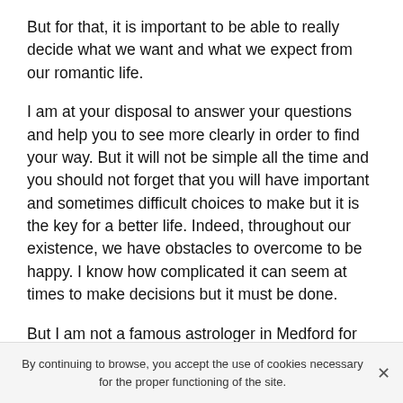But for that, it is important to be able to really decide what we want and what we expect from our romantic life.
I am at your disposal to answer your questions and help you to see more clearly in order to find your way. But it will not be simple all the time and you should not forget that you will have important and sometimes difficult choices to make but it is the key for a better life. Indeed, throughout our existence, we have obstacles to overcome to be happy. I know how complicated it can seem at times to make decisions but it must be done.
But I am not a famous astrologer in Medford for nothing and I can tell you that you can trust me because many people have done this before you and they were able to have the life they really wanted. So it's time for you to find your way back to happiness and to get there, all you have
By continuing to browse, you accept the use of cookies necessary for the proper functioning of the site.